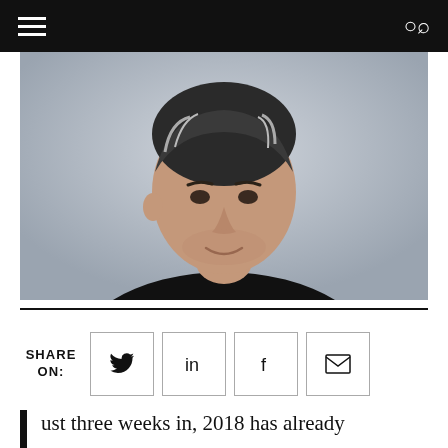Navigation header with hamburger menu and search icon
[Figure (photo): Portrait photo of a middle-aged man with salt-and-pepper hair, smiling slightly, wearing a black shirt against a light grey background.]
SHARE ON:
ust three weeks in, 2018 has already